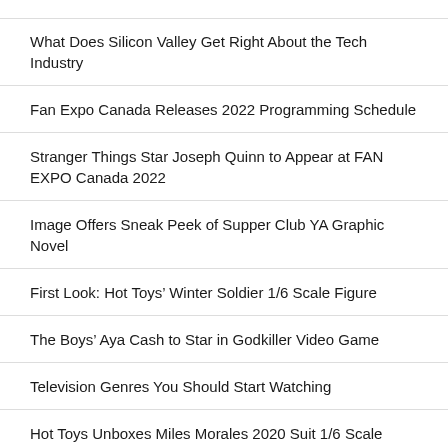What Does Silicon Valley Get Right About the Tech Industry
Fan Expo Canada Releases 2022 Programming Schedule
Stranger Things Star Joseph Quinn to Appear at FAN EXPO Canada 2022
Image Offers Sneak Peek of Supper Club YA Graphic Novel
First Look: Hot Toys’ Winter Soldier 1/6 Scale Figure
The Boys’ Aya Cash to Star in Godkiller Video Game
Television Genres You Should Start Watching
Hot Toys Unboxes Miles Morales 2020 Suit 1/6 Scale Figure